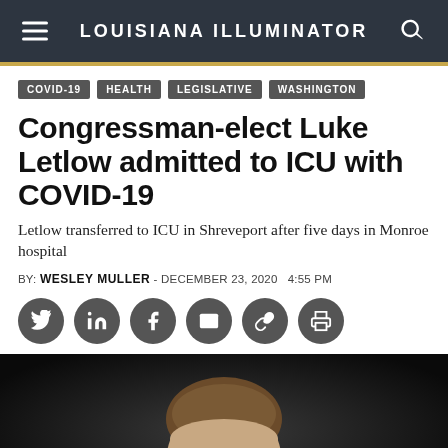LOUISIANA ILLUMINATOR
COVID-19  HEALTH  LEGISLATIVE  WASHINGTON
Congressman-elect Luke Letlow admitted to ICU with COVID-19
Letlow transferred to ICU in Shreveport after five days in Monroe hospital
BY: WESLEY MULLER - DECEMBER 23, 2020  4:55 PM
[Figure (photo): Headshot photo of Congressman-elect Luke Letlow, a man with brown hair against a dark background]